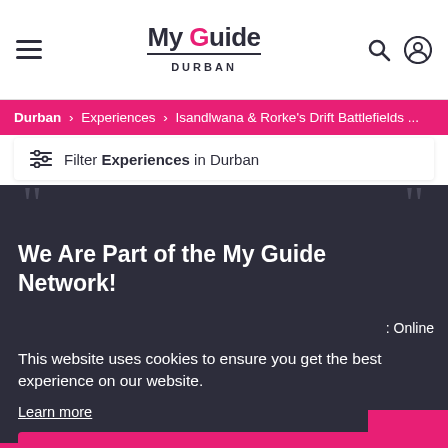My Guide Durban
Durban > Experiences > Isandlwana & Rorke's Drift Battlefields ...
Filter Experiences in Durban
We Are Part of the My Guide Network!
Online
This website uses cookies to ensure you get the best experience on our website.
Learn more
to find
Got it!